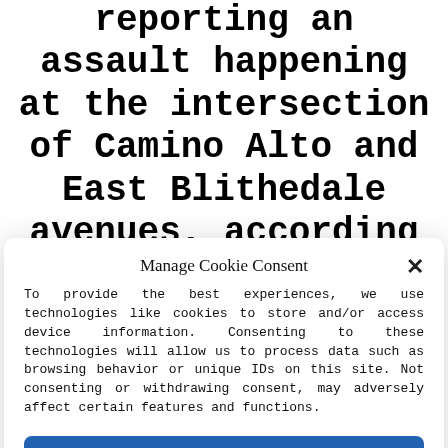reporting an assault happening at the intersection of Camino Alto and East Blithedale avenues, according to police. Police said Dehner arrived on the scene to find...
Manage Cookie Consent
To provide the best experiences, we use technologies like cookies to store and/or access device information. Consenting to these technologies will allow us to process data such as browsing behavior or unique IDs on this site. Not consenting or withdrawing consent, may adversely affect certain features and functions.
Accept